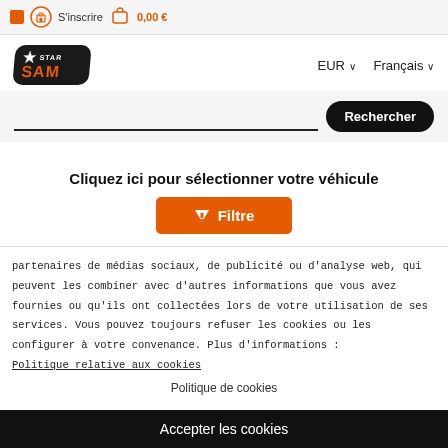S'inscrire   0,00 €
[Figure (logo): Star SAM logo — black angled badge with orange SAM text]
EUR ∨   Français ∨
Rechercher
Cliquez ici pour sélectionner votre véhicule
▼ Filtre
partenaires de médias sociaux, de publicité ou d'analyse web, qui peuvent les combiner avec d'autres informations que vous avez fournies ou qu'ils ont collectées lors de votre utilisation de ses services. Vous pouvez toujours refuser les cookies ou les configurer à votre convenance. Plus d'informations :
Politique relative aux cookies
Politique de cookies
Accepter les cookies